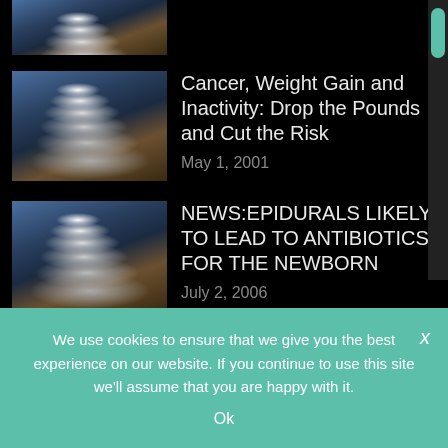[Figure (photo): Partial view of stacked stones/pebbles at top of page]
[Figure (photo): Stacked stones/pebbles on beach at sunset, thumbnail for Cancer article]
Cancer, Weight Gain and Inactivity: Drop the Pounds and Cut the Risk
May 1, 2001
[Figure (photo): Stacked stones/pebbles on beach at sunset, thumbnail for Epidurals article]
NEWS:EPIDURALS LIKELY TO LEAD TO ANTIBIOTICS FOR THE NEWBORN
July 2, 2006
YOUR MIND AND SPIRIT
Hearing the Whispers of Your
We use cookies to ensure that we give you the best experience on our website. If you continue to use this site we'll assume that you are happy with it.
Ok